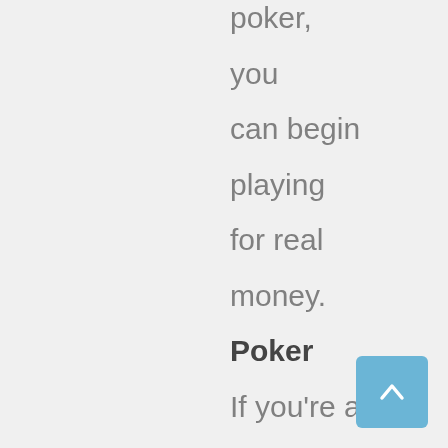poker, you can begin playing for real money. Poker If you're a casual player and are looking for an entertaining way to pass the time, online